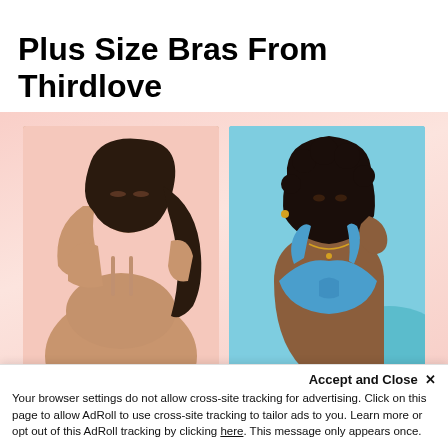Plus Size Bras From Thirdlove
[Figure (photo): Two women modeling bras: left woman in nude/beige bra on pink background, right woman in blue bra on teal/turquoise background]
Women of all sizes struggle to find the perfect fit...
Accept and Close ×
Your browser settings do not allow cross-site tracking for advertising. Click on this page to allow AdRoll to use cross-site tracking to tailor ads to you. Learn more or opt out of this AdRoll tracking by clicking here. This message only appears once.